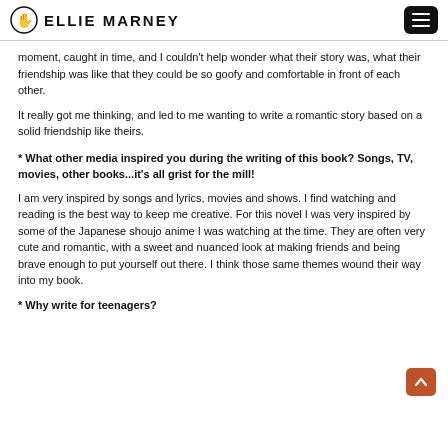ELLIE MARNEY
moment, caught in time, and I couldn't help wonder what their story was, what their friendship was like that they could be so goofy and comfortable in front of each other.
It really got me thinking, and led to me wanting to write a romantic story based on a solid friendship like theirs.
* What other media inspired you during the writing of this book? Songs, TV, movies, other books...it's all grist for the mill!
I am very inspired by songs and lyrics, movies and shows. I find watching and reading is the best way to keep me creative. For this novel I was very inspired by some of the Japanese shoujo anime I was watching at the time. They are often very cute and romantic, with a sweet and nuanced look at making friends and being brave enough to put yourself out there. I think those same themes wound their way into my book.
* Why write for teenagers?